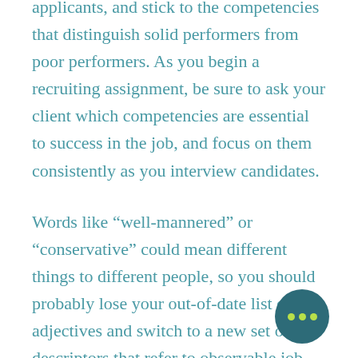applicants, and stick to the competencies that distinguish solid performers from poor performers. As you begin a recruiting assignment, be sure to ask your client which competencies are essential to success in the job, and focus on them consistently as you interview candidates.
Words like “well-mannered” or “conservative” could mean different things to different people, so you should probably lose your out-of-date list of adjectives and switch to a new set of descriptors that refer to observable job-related behavior. Consider using a professionally developed list of competencies with behavioral